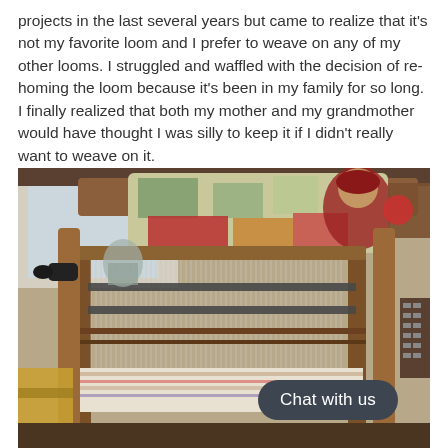projects in the last several years but came to realize that it's not my favorite loom and I prefer to weave on any of my other looms.  I struggled and waffled with the decision of re-homing the loom because it's been in my family for so long.  I finally realized that both my mother and my grandmother would have thought I was silly to keep it if I didn't really want to weave on it.
[Figure (photo): A wooden floor loom in a studio or home setting, photographed from a low angle. The loom has wooden beams and metal heddles/warp threads visible. A colorful patchwork fabric (greens, reds, yellows) is draped over the top beam. In the background is a window with natural light, a glass jar, and a figure wearing red. A 'Chat with us' button overlay appears in the bottom right of the image.]